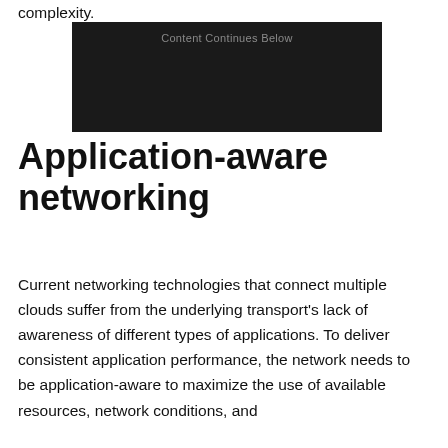complexity.
[Figure (other): Dark advertisement placeholder box with text 'Content Continues Below']
Application-aware networking
Current networking technologies that connect multiple clouds suffer from the underlying transport's lack of awareness of different types of applications. To deliver consistent application performance, the network needs to be application-aware to maximize the use of available resources, network conditions, and